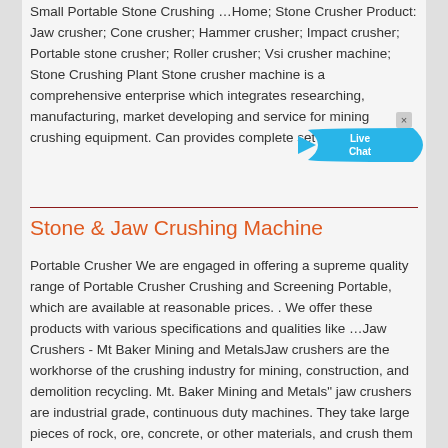Small Portable Stone Crushing …Home; Stone Crusher Product: Jaw crusher; Cone crusher; Hammer crusher; Impact crusher; Portable stone crusher; Roller crusher; Vsi crusher machine; Stone Crushing Plant Stone crusher machine is a comprehensive enterprise which integrates researching, manufacturing, market developing and service for mining crushing equipment. Can provides complete set of crushing …
[Figure (other): Live Chat widget — blue fish/chat bubble shape with 'Live Chat' text and a close (x) button]
Stone & Jaw Crushing Machine
Portable Crusher We are engaged in offering a supreme quality range of Portable Crusher Crushing and Screening Portable, which are available at reasonable prices. . We offer these products with various specifications and qualities like …Jaw Crushers - Mt Baker Mining and MetalsJaw crushers are the workhorse of the crushing industry for mining, construction, and demolition recycling. Mt. Baker Mining and Metals" jaw crushers are industrial grade, continuous duty machines. They take large pieces of rock, ore, concrete, or other materials, and crush them down to smaller sizes, for further